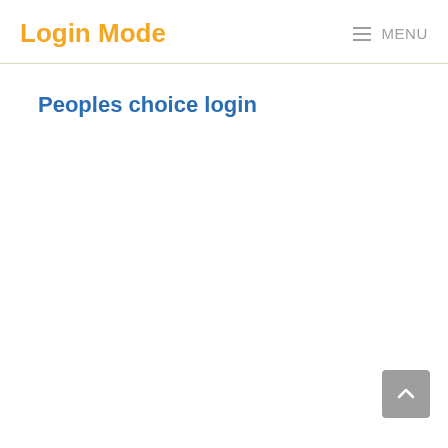Login Mode  MENU
Peoples choice login